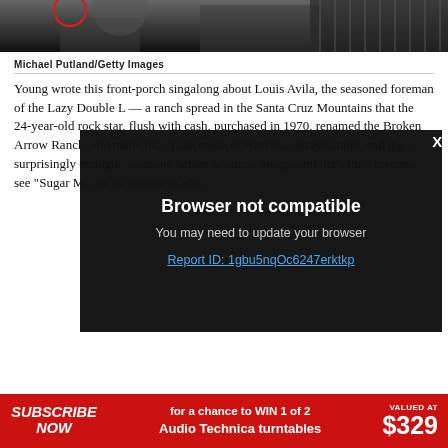[Figure (photo): Black and white photo strip showing musicians, cropped at top of page]
Michael Putland/Getty Images
Young wrote this front-porch singalong about Louis Avila, the seasoned foreman of the Lazy Double L — a ranch spread in the Santa Cruz Mountains that the 24-year-old rock star, flush with cash, purchased in 1970, renamed the Broken Arrow Ranch, and made int... Like much of Harves... Stray Gators, and the... surprisingly enough,... on one before or sinc... on age and life's thr... themes; see "Sugar M... of its writing to add...
[Figure (screenshot): Browser not compatible modal overlay on dark background with close X button. Text: 'Browser not compatible', 'You may need to update your browser', 'Report ID: 1gbu5nqOc6247erktkp']
SUBSCRIBE NOW   for a chance to WIN 1 of 2 Audio Technica turntables   VALUED AT $329